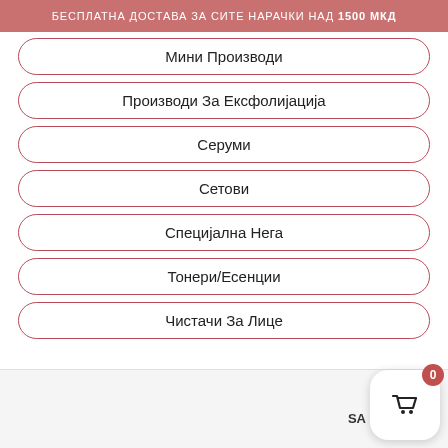БЕСПЛАТНА ДОСТАВА ЗА СИТЕ НАРАЧКИ НАД 1500 МКД
Мини Производи
Производи За Eксфолијација
Серуми
Сетови
Специјална Нега
Тонери/Есенции
Чистачи За Лице